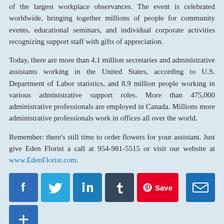of the largest workplace observances. The event is celebrated worldwide, bringing together millions of people for community events, educational seminars, and individual corporate activities recognizing support staff with gifts of appreciation.
Today, there are more than 4.1 million secretaries and administrative assistants working in the United States, according to U.S. Department of Labor statistics, and 8.9 million people working in various administrative support roles. More than 475,000 administrative professionals are employed in Canada. Millions more administrative professionals work in offices all over the world.
Remember: there’s still time to order flowers for your assistant. Just give Eden Florist a call at 954-981-5515 or visit our website at www.EdenFlorist.com.
[Figure (infographic): Social media sharing buttons: Facebook, Twitter, LinkedIn, Tumblr, Pinterest Save, Email, and a plus button]
This entry was posted on April 26, 2017, in Cause for Celebration, On this day and tagged admininistrative professionals day, administrative professional, secretaries day, send flowers to your assistant.